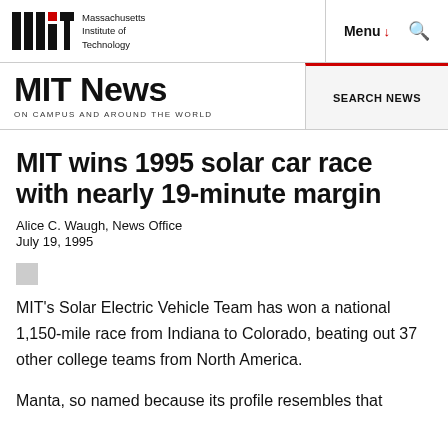Massachusetts Institute of Technology | Menu | Search
MIT News ON CAMPUS AND AROUND THE WORLD | SEARCH NEWS
MIT wins 1995 solar car race with nearly 19-minute margin
Alice C. Waugh, News Office
July 19, 1995
MIT's Solar Electric Vehicle Team has won a national 1,150-mile race from Indiana to Colorado, beating out 37 other college teams from North America.
Manta, so named because its profile resembles that